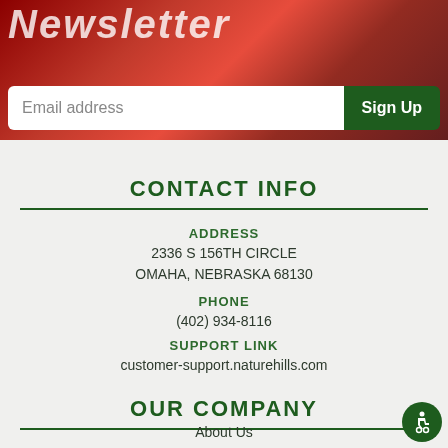[Figure (photo): Red rose background with Newsletter title text and email sign-up bar with 'Email address' input and 'Sign Up' button]
CONTACT INFO
ADDRESS
2336 S 156TH CIRCLE
OMAHA, NEBRASKA 68130
PHONE
(402) 934-8116
SUPPORT LINK
customer-support.naturehills.com
OUR COMPANY
About Us